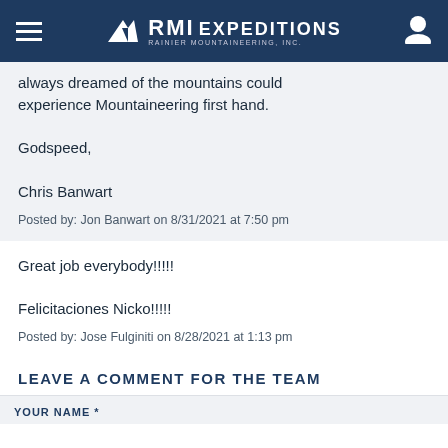RMI EXPEDITIONS RAINIER MOUNTAINEERING, INC.
always dreamed of the mountains could experience Mountaineering first hand.

Godspeed,

Chris Banwart
Posted by: Jon Banwart on 8/31/2021 at 7:50 pm
Great job everybody!!!!!

Felicitaciones Nicko!!!!!
Posted by: Jose Fulginiti on 8/28/2021 at 1:13 pm
LEAVE A COMMENT FOR THE TEAM
YOUR NAME *